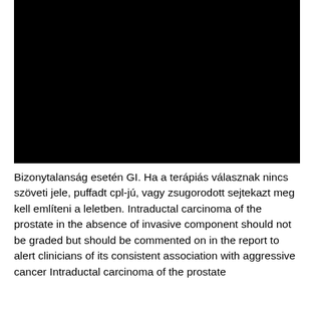[Figure (photo): Black image block, likely a medical microscopy or imaging figure with no visible content (fully black).]
Bizonytalanság esetén GI. Ha a terápiás válasznak nincs szöveti jele, puffadt cpl-jú, vagy zsugorodott sejtekazt meg kell említeni a leletben. Intraductal carcinoma of the prostate in the absence of invasive component should not be graded but should be commented on in the report to alert clinicians of its consistent association with aggressive cancer Intraductal carcinoma of the prostate